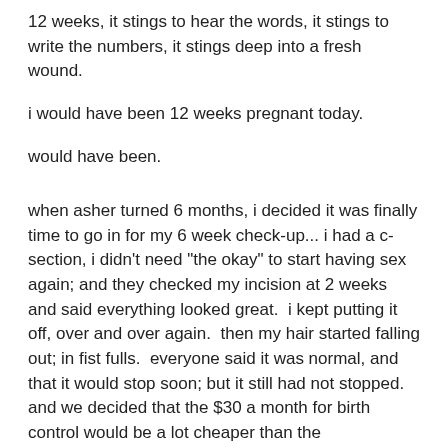12 weeks, it stings to hear the words, it stings to write the numbers, it stings deep into a fresh wound.
i would have been 12 weeks pregnant today.
would have been.
when asher turned 6 months, i decided it was finally time to go in for my 6 week check-up... i had a c-section, i didn't need "the okay" to start having sex again; and they checked my incision at 2 weeks and said everything looked great.  i kept putting it off, over and over again.  then my hair started falling out; in fist fulls.  everyone said it was normal, and that it would stop soon; but it still had not stopped.  and we decided that the $30 a month for birth control would be a lot cheaper than the $642,789.23 a month it costs to have a baby.  so i needed to go to the doctor.  asher and i went together. we love each other you see, so we like to do things together.  i don't really like to